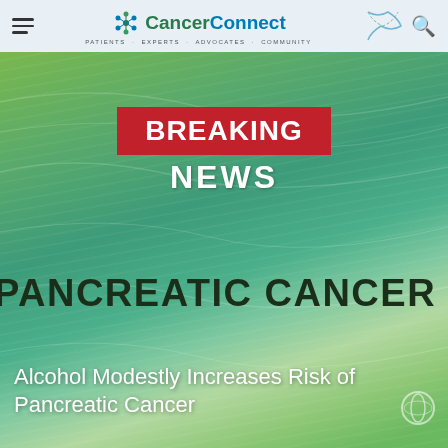CancerConnect — Patients · Experts · Advocates · Community
[Figure (screenshot): CancerConnect website screenshot showing Breaking News banner over a green abstract background with text: PANCREATIC CANCER NEWS and article title Alcohol Modestly Increases Risk of Pancreatic Cancer]
BREAKING NEWS
PANCREATIC CANCER NEWS
Alcohol Modestly Increases Risk of Pancreatic Cancer